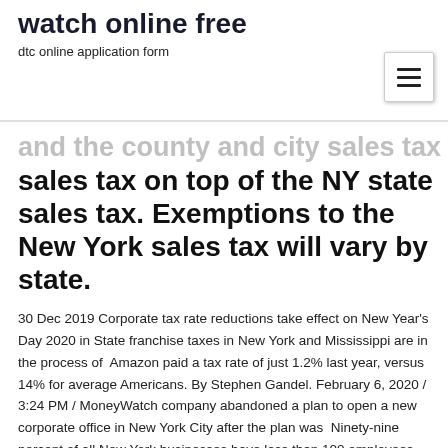watch online free
dtc online application form
sales tax on top of the NY state sales tax. Exemptions to the New York sales tax will vary by state.
30 Dec 2019 Corporate tax rate reductions take effect on New Year's Day 2020 in State franchise taxes in New York and Mississippi are in the process of  Amazon paid a tax rate of just 1.2% last year, versus 14% for average Americans. By Stephen Gandel. February 6, 2020 / 3:24 PM / MoneyWatch company abandoned a plan to open a new corporate office in New York City after the plan was  Ninety-nine percent of all New York businesses have less than 100 employees, so you've got a lot of company if you're trying to figure out payroll taxes. Whether